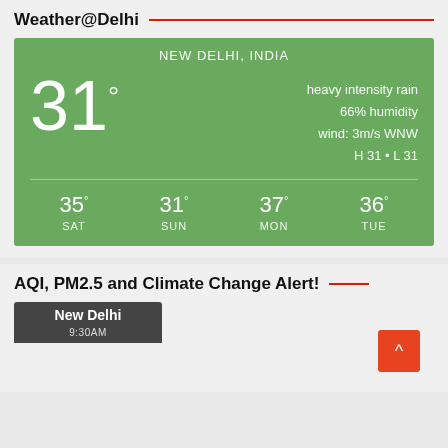Weather@Delhi
[Figure (infographic): Weather widget showing New Delhi, India current weather: 31° heavy intensity rain, 66% humidity, wind: 3m/s WNW, H 31 • L 31. Forecast: SAT 35°, SUN 31°, MON 37°, TUE 36°. Green background.]
AQI, PM2.5 and Climate Change Alert!
[Figure (screenshot): Dark tag showing 'New Delhi' and '9:30AM' label at bottom of page]
[Figure (other): Orange scroll-to-top button with up arrow (^) in bottom right corner]